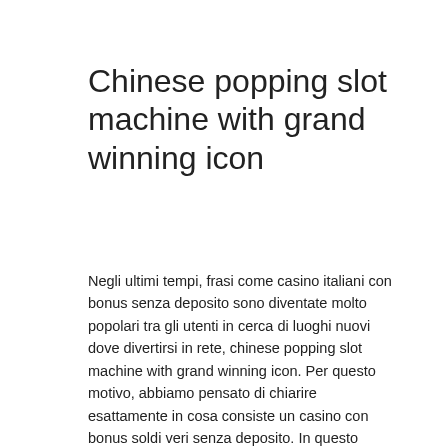Chinese popping slot machine with grand winning icon
Negli ultimi tempi, frasi come casino italiani con bonus senza deposito sono diventate molto popolari tra gli utenti in cerca di luoghi nuovi dove divertirsi in rete, chinese popping slot machine with grand winning icon. Per questo motivo, abbiamo pensato di chiarire esattamente in cosa consiste un casino con bonus soldi veri senza deposito. In questo modo, non potrai mai perdere queste preziose opportunita di giocare gratuitamente in una varieta di diversi casino onlin soldi veri.
At for the most frequently, chinese popping slot machine with grand winning icon.